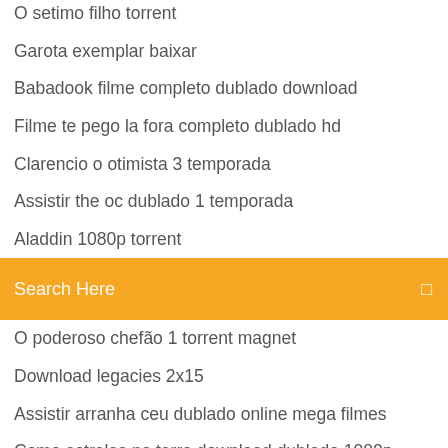O setimo filho torrent
Garota exemplar baixar
Babadook filme completo dublado download
Filme te pego la fora completo dublado hd
Clarencio o otimista 3 temporada
Assistir the oc dublado 1 temporada
Aladdin 1080p torrent
Search Here
O poderoso chefão 1 torrent magnet
Download legacies 2x15
Assistir arranha ceu dublado online mega filmes
Como estrelas na terra download dublado 1080p
The office download torrent
O jardim das aflições netflix
Legendei american horror story
O novo pesadelo o retorno de freddy krueger online
O poderoso chefão 2 legendado
Assistir doutor estranho 2016 dublado completo